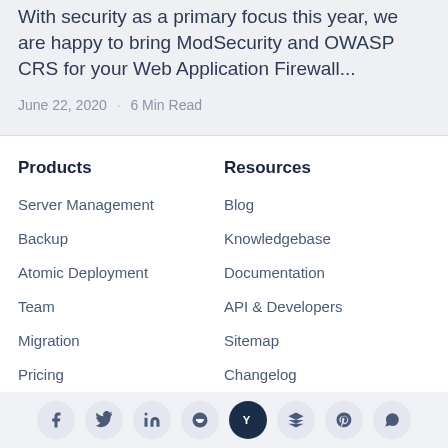With security as a primary focus this year, we are happy to bring ModSecurity and OWASP CRS for your Web Application Firewall...
June 22, 2020  ·  6 Min Read
Products
Server Management
Backup
Atomic Deployment
Team
Migration
Pricing
Resources
Blog
Knowledgebase
Documentation
API & Developers
Sitemap
Changelog
Social share icons: Facebook, Twitter, LinkedIn, Reddit, Hacker News, Buffer, Pinterest, WhatsApp